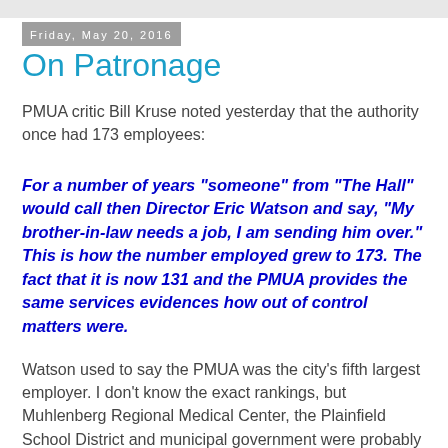Friday, May 20, 2016
On Patronage
PMUA critic Bill Kruse noted yesterday that the authority once had 173 employees:
For a number of years "someone" from "The Hall" would call then Director Eric Watson and say, "My brother-in-law needs a job, I am sending him over." This is how the number employed grew to 173. The fact that it is now 131 and the PMUA provides the same services evidences how out of control matters were.
Watson used to say the PMUA was the city's fifth largest employer. I don't know the exact rankings, but Muhlenberg Regional Medical Center, the Plainfield School District and municipal government were probably the top three. Because the cry in Plainfield was and continues to be for jobs, providing so many made the authority appear to be downright benevolent.